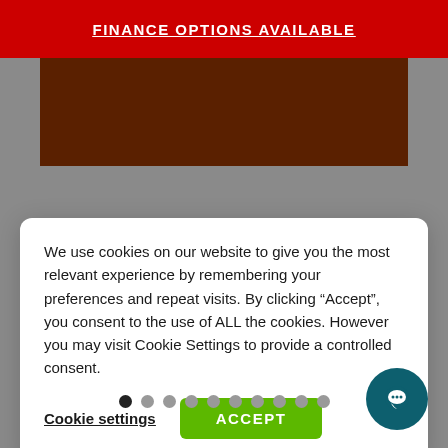FINANCE OPTIONS AVAILABLE
[Figure (photo): Brown/dark reddish-brown rectangular image area (product or background image)]
We use cookies on our website to give you the most relevant experience by remembering your preferences and repeat visits. By clicking “Accept”, you consent to the use of ALL the cookies. However you may visit Cookie Settings to provide a controlled consent.
Cookie settings
ACCEPT
[Figure (infographic): Carousel navigation dots — 10 dots, first dot filled dark (active), rest grey]
[Figure (infographic): Teal circular chat/messenger button icon in bottom-right corner]